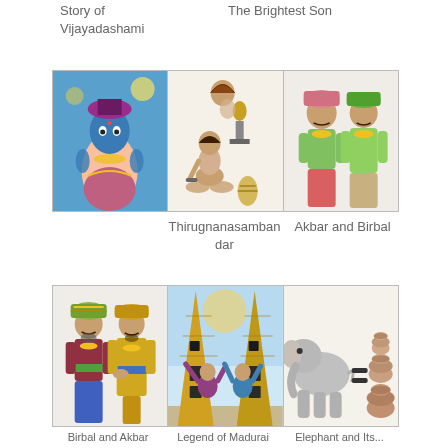Story of Vijayadashami
The Brightest Son
[Figure (illustration): Three panel illustration row: left panel shows a Hindu deity (Vishnu-like figure) with blue skin and ornaments on a blue background; middle panel shows a seated sage/scholar with a lamp/vessel; right panel shows two traditionally dressed Indian figures standing together.]
Thirugnanasamban dar
Akbar and Birbal
[Figure (illustration): Three panel illustration row: left panel shows two Indian figures in colourful traditional dress; middle panel shows a tall ornate tower/gopuram with two figures; right panel shows an elephant next to an equals sign and several pots/vessels.]
Birbal and Akbar    Legend of Madurai    Elephant and Its...